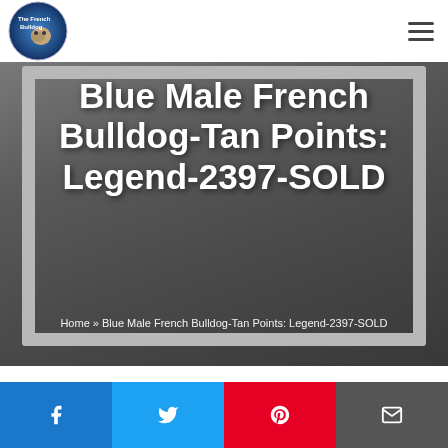[Figure (logo): The French Bulldog website logo — crescent moon shape with bulldog, blue tones]
Blue Male French Bulldog-Tan Points: Legend-2397-SOLD
Home » Blue Male French Bulldog-Tan Points: Legend-2397-SOLD
March 18, 2021 by The French Bulldog
[Figure (infographic): Social share bar with Facebook, Twitter, Pinterest, and Email buttons]